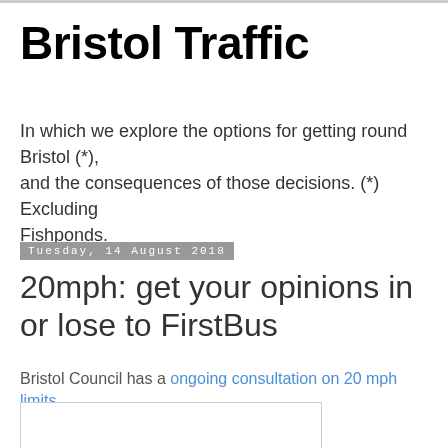Bristol Traffic
In which we explore the options for getting round Bristol (*), and the consequences of those decisions. (*) Excluding Fishponds.
Tuesday, 14 August 2018
20mph: get your opinions in or lose to FirstBus
Bristol Council has a ongoing consultation on 20 mph limits.
[Figure (other): Empty white image box with border]